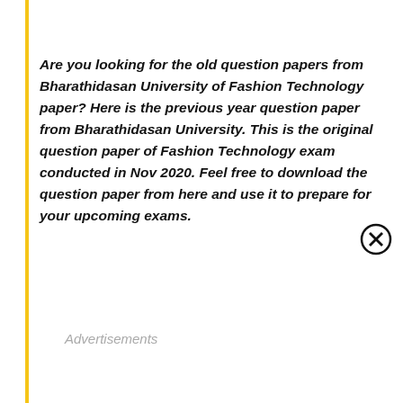Are you looking for the old question papers from Bharathidasan University of Fashion Technology paper? Here is the previous year question paper from Bharathidasan University. This is the original question paper of Fashion Technology exam conducted in Nov 2020. Feel free to download the question paper from here and use it to prepare for your upcoming exams.
Advertisements